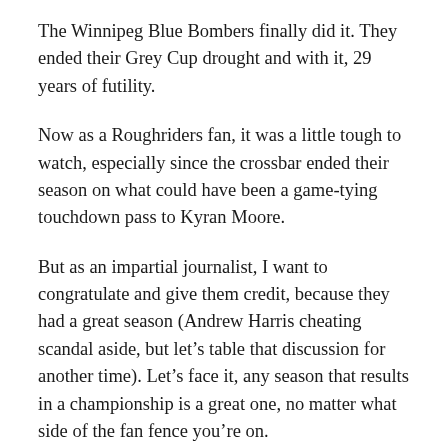The Winnipeg Blue Bombers finally did it. They ended their Grey Cup drought and with it, 29 years of futility.
Now as a Roughriders fan, it was a little tough to watch, especially since the crossbar ended their season on what could have been a game-tying touchdown pass to Kyran Moore.
But as an impartial journalist, I want to congratulate and give them credit, because they had a great season (Andrew Harris cheating scandal aside, but let’s table that discussion for another time). Let’s face it, any season that results in a championship is a great one, no matter what side of the fan fence you’re on.
I do want to think about the odd (is it odd? I don’t know)